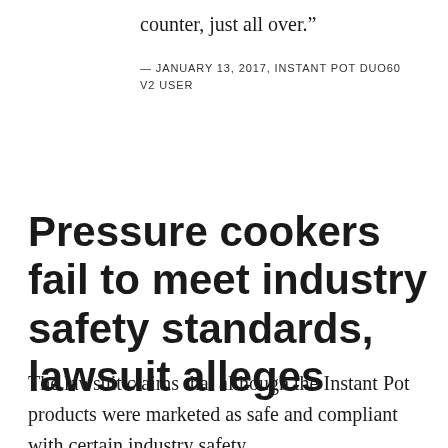counter, just all over.”
— JANUARY 13, 2017, INSTANT POT DUO60 V2 USER
Pressure cookers fail to meet industry safety standards, lawsuit alleges
The lawsuit claims that although the Instant Pot products were marketed as safe and compliant with certain industry safety